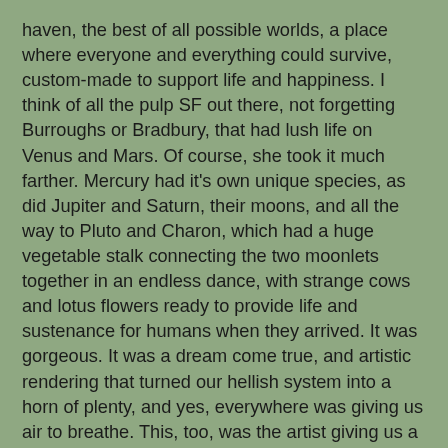haven, the best of all possible worlds, a place where everyone and everything could survive, custom-made to support life and happiness. I think of all the pulp SF out there, not forgetting Burroughs or Bradbury, that had lush life on Venus and Mars. Of course, she took it much farther. Mercury had it's own unique species, as did Jupiter and Saturn, their moons, and all the way to Pluto and Charon, which had a huge vegetable stalk connecting the two moonlets together in an endless dance, with strange cows and lotus flowers ready to provide life and sustenance for humans when they arrived. It was gorgeous. It was a dream come true, and artistic rendering that turned our hellish system into a horn of plenty, and yes, everywhere was giving us air to breathe. This, too, was the artist giving us a brilliant conception of the world through the Fae Light of movie magic, and I admit that I fell into its spell as deeply and completely as any of the very best books I've ever read. It was told so well that I drowned in not giving a fuck about having realistic science. This was all about dreams and magic, as only our deepest joys of a mythical hollywood could conceive.